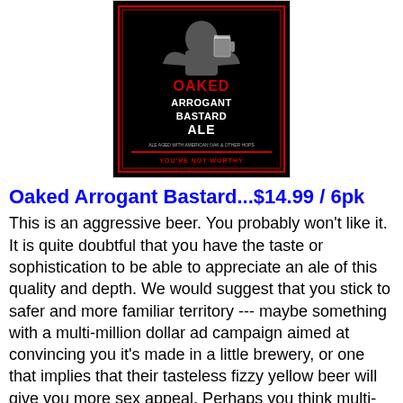[Figure (photo): Beer bottle label for Oaked Arrogant Bastard Ale on a black background with a gargoyle figure and red/white text reading OAKED ARROGANT BASTARD ALE, YOU'RE NOT WORTHY]
Oaked Arrogant Bastard...$14.99 / 6pk
This is an aggressive beer. You probably won't like it. It is quite doubtful that you have the taste or sophistication to be able to appreciate an ale of this quality and depth. We would suggest that you stick to safer and more familiar territory --- maybe something with a multi-million dollar ad campaign aimed at convincing you it's made in a little brewery, or one that implies that their tasteless fizzy yellow beer will give you more sex appeal. Perhaps you think multi-million dollar ad campaigns make a beer taste better. Perhaps you're mouthing your words as you read this.
Too many strive towards complacency as a goal. We grow